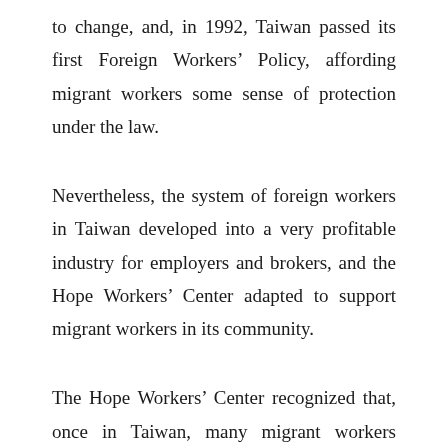to change, and, in 1992, Taiwan passed its first Foreign Workers' Policy, affording migrant workers some sense of protection under the law.
Nevertheless, the system of foreign workers in Taiwan developed into a very profitable industry for employers and brokers, and the Hope Workers' Center adapted to support migrant workers in its community.
The Hope Workers' Center recognized that, once in Taiwan, many migrant workers encountered dire conditions. Faced by employers and brokers who often didn't have the workers' best interests at heart: